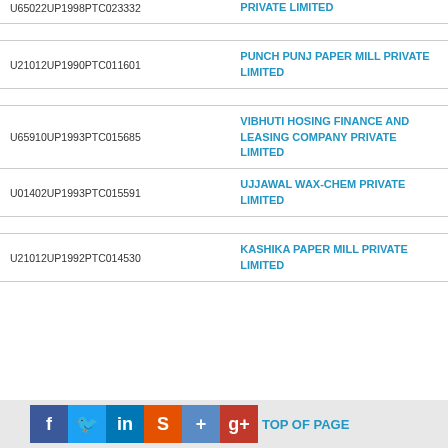| CIN | Company Name |
| --- | --- |
| U65022UP1998PTC023332 | PRIVATE LIMITED |
| U21012UP1990PTC011601 | PUNCH PUNJ PAPER MILL PRIVATE LIMITED |
| U65910UP1993PTC015685 | VIBHUTI HOSING FINANCE AND LEASING COMPANY PRIVATE LIMITED |
| U01402UP1993PTC015591 | UJJAWAL WAX-CHEM PRIVATE LIMITED |
| U21012UP1992PTC014530 | KASHIKA PAPER MILL PRIVATE LIMITED |
Social share bar with Facebook, Twitter, LinkedIn, StumbleUpon, Delicious, Google+ icons and TOP OF PAGE link